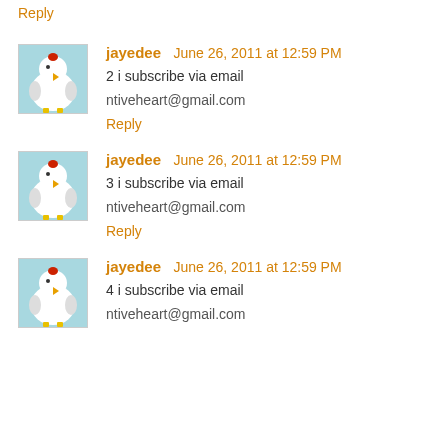Reply
jayedee  June 26, 2011 at 12:59 PM
2 i subscribe via email
ntiveheart@gmail.com
Reply
jayedee  June 26, 2011 at 12:59 PM
3 i subscribe via email
ntiveheart@gmail.com
Reply
jayedee  June 26, 2011 at 12:59 PM
4 i subscribe via email
ntiveheart@gmail.com